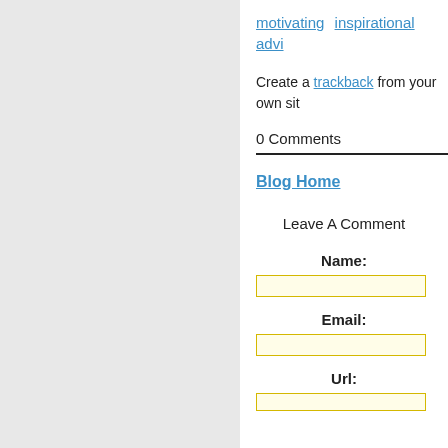motivating  inspirational  advi...
Create a trackback from your own sit
0 Comments
Blog Home
Leave A Comment
Name:
Email:
Url: